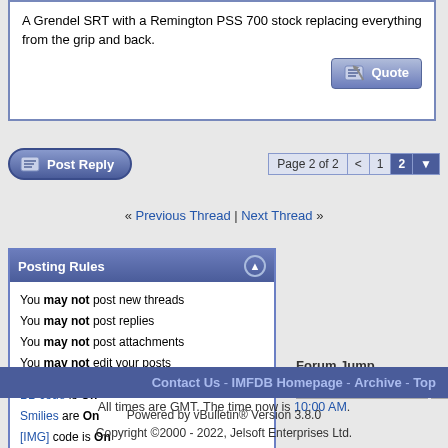A Grendel SRT with a Remington PSS 700 stock replacing everything from the grip and back.
[Figure (screenshot): Post Reply button with pencil/paper icon, blue pill-shaped button]
Page 2 of 2  < 1 2 ▼
« Previous Thread | Next Thread »
Posting Rules
You may not post new threads
You may not post replies
You may not post attachments
You may not edit your posts
BB code is On
Smilies are On
[IMG] code is On
HTML code is Off
Forum Rules
Forum Jump
All times are GMT. The time now is 10:00 AM.
Contact Us - IMFDB Homepage - Archive - Top
Powered by vBulletin® Version 3.8.0
Copyright ©2000 - 2022, Jelsoft Enterprises Ltd.